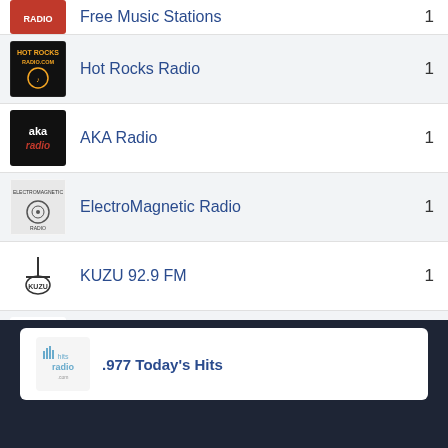Hot Rocks Radio  1
AKA Radio  1
ElectroMagnetic Radio  1
KUZU 92.9 FM  1
181.FM The Office  1
104.7 KCLD  1
.977 Today's Hits